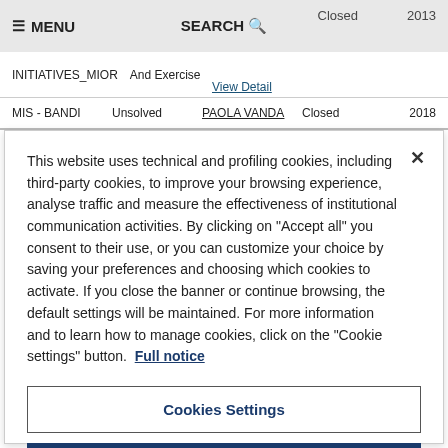≡ MENU   SEARCH Q   Closed   2013
INITIATIVES_MIOR   And Exercise
View Detail
MIS - BANDI   Unsolved   PAOLA VANDA   Closed   2018
This website uses technical and profiling cookies, including third-party cookies, to improve your browsing experience, analyse traffic and measure the effectiveness of institutional communication activities. By clicking on "Accept all" you consent to their use, or you can customize your choice by saving your preferences and choosing which cookies to activate. If you close the banner or continue browsing, the default settings will be maintained. For more information and to learn how to manage cookies, click on the "Cookie settings" button. Full notice
Cookies Settings
Reject All